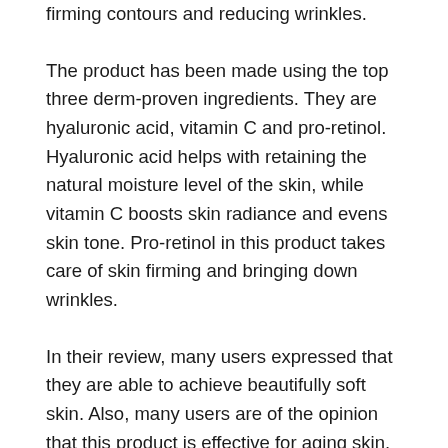firming contours and reducing wrinkles.
The product has been made using the top three derm-proven ingredients. They are hyaluronic acid, vitamin C and pro-retinol. Hyaluronic acid helps with retaining the natural moisture level of the skin, while vitamin C boosts skin radiance and evens skin tone. Pro-retinol in this product takes care of skin firming and bringing down wrinkles.
In their review, many users expressed that they are able to achieve beautifully soft skin. Also, many users are of the opinion that this product is effective for aging skin.
2. Collagen Face Moisturizer from